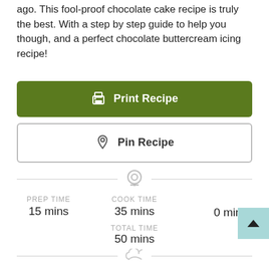ago. This fool-proof chocolate cake recipe is truly the best. With a step by step guide to help you though, and a perfect chocolate buttercream icing recipe!
Print Recipe
Pin Recipe
PREP TIME
15 mins
COOK TIME
35 mins
0 mins
TOTAL TIME
50 mins